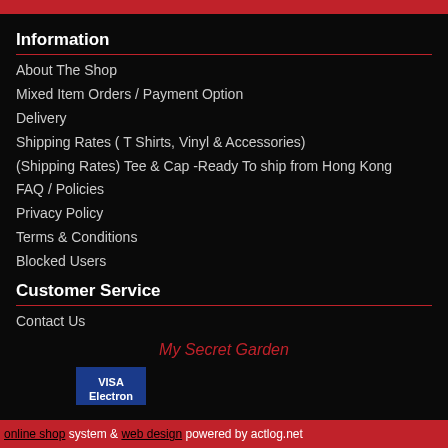Information
About The Shop
Mixed Item Orders / Payment Option
Delivery
Shipping Rates ( T Shirts, Vinyl & Accessories)
(Shipping Rates) Tee & Cap -Ready To ship from Hong Kong
FAQ / Policies
Privacy Policy
Terms & Conditions
Blocked Users
Customer Service
Contact Us
My Secret Garden
[Figure (logo): Visa Electron payment logo — dark blue rectangle with white text VISA Electron]
online shop system & web design powered by actlog.net